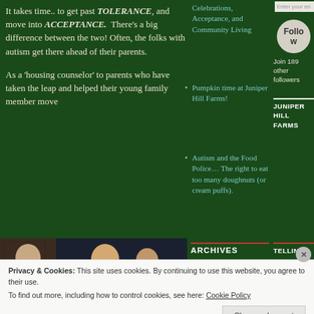It takes time.. to get past TOLERANCE, and move into ACCEPTANCE. There’s a big difference between the two! Often, the folks with autism get there ahead of their parents.
As a ‘housing counselor’ to parents who have taken the leap and helped their young family member move
Celebrations, Acceptance, and Community Living
Pumpkin time at Juniper Hill Farms!
Autism and the Food Police… The right to eat too many doughnuts (or cream puffs).
ARCHIVES
Enter your email
Follow
Join 189 other followers
JUNIPER HILL FARMS
TELLING
[Figure (photo): Photo of two people, one younger and one older, indoors]
Privacy & Cookies: This site uses cookies. By continuing to use this website, you agree to their use.
To find out more, including how to control cookies, see here: Cookie Policy
Close and accept